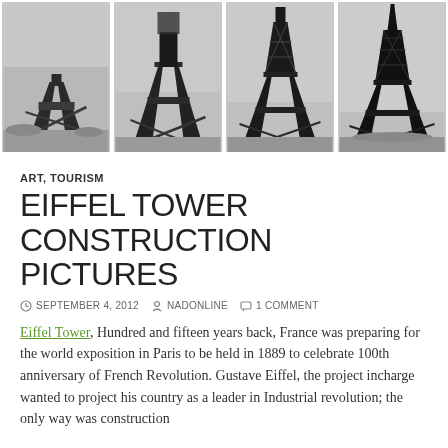[Figure (photo): Four black and white historical photographs showing progressive stages of the Eiffel Tower construction, arranged side by side in a horizontal strip.]
ART, TOURISM
EIFFEL TOWER CONSTRUCTION PICTURES
SEPTEMBER 4, 2012   NADONLINE   1 COMMENT
Eiffel Tower, Hundred and fifteen years back, France was preparing for the world exposition in Paris to be held in 1889 to celebrate 100th anniversary of French Revolution. Gustave Eiffel, the project incharge wanted to project his country as a leader in Industrial revolution; the only way was construction